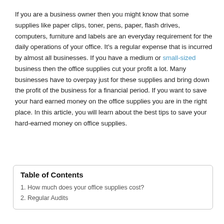If you are a business owner then you might know that some supplies like paper clips, toner, pens, paper, flash drives, computers, furniture and labels are an everyday requirement for the daily operations of your office. It's a regular expense that is incurred by almost all businesses. If you have a medium or small-sized business then the office supplies cut your profit a lot. Many businesses have to overpay just for these supplies and bring down the profit of the business for a financial period. If you want to save your hard earned money on the office supplies you are in the right place. In this article, you will learn about the best tips to save your hard-earned money on office supplies.
Table of Contents
1. How much does your office supplies cost?
2. Regular Audits